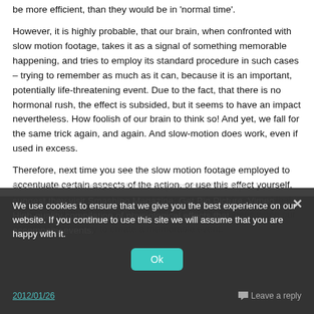be more efficient, than they would be in 'normal time'.
However, it is highly probable, that our brain, when confronted with slow motion footage, takes it as a signal of something memorable happening, and tries to employ its standard procedure in such cases – trying to remember as much as it can, because it is an important, potentially life-threatening event. Due to the fact, that there is no hormonal rush, the effect is subsided, but it seems to have an impact nevertheless. How foolish of our brain to think so! And yet, we fall for the same trick again, and again. And slow-motion does work, even if used in excess.
Therefore, next time you see the slow motion footage employed to accentuate certain aspects of the action, or use this effect yourself, be aware that it works, because it references the state of mind that is already available to the viewer, and mimics what happens when our brains do firecely try to create a memorable event.
If readers are interested in further exploration of the topic, I suggest they visit Smashing Magazine, Get Big Picture, Vimeo High-quality compilation of physiological effects that accompany events.
We use cookies to ensure that we give you the best experience on our website. If you continue to use this site we will assume that you are happy with it.
2012/01/26
Leave a reply